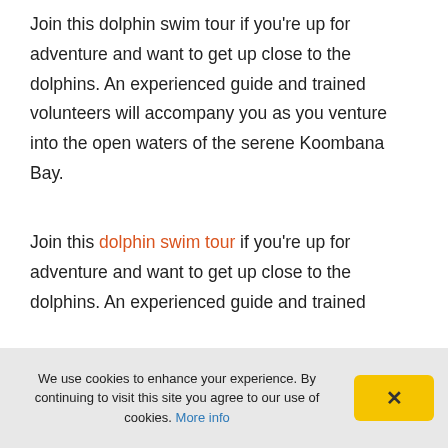Join this dolphin swim tour if you're up for adventure and want to get up close to the dolphins. An experienced guide and trained volunteers will accompany you as you venture into the open waters of the serene Koombana Bay.
Join this dolphin swim tour if you're up for adventure and want to get up close to the dolphins. An experienced guide and trained
We use cookies to enhance your experience. By continuing to visit this site you agree to our use of cookies. More info